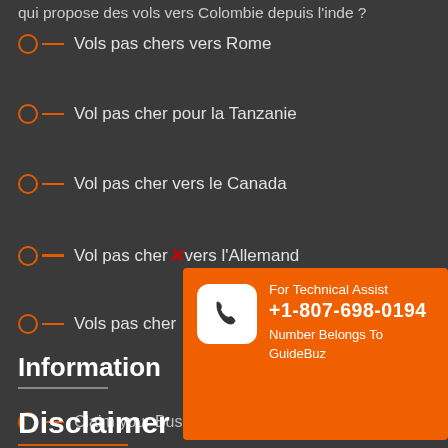qui propose des vols vers Colombie depuis l’inde ?
Vols pas chers vers Rome
Vol pas cher pour la Tanzanie
Vol pas cher vers le Canada
Vol pas cher vers l’Allemand
Vols pas cher…
Information
[Figure (infographic): Orange popup overlay with phone icon and text: For Technical Assist +1-807-698-0194 Number Belongs To GuideBuz]
Claim your Business Page
Disclaimer